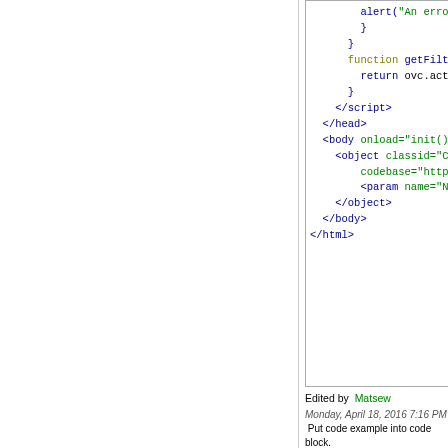[Figure (screenshot): Code block showing HTML/JavaScript snippet with syntax highlighting: alert, function getFilter(), return, closing script tag, head tag, body onload, object classid, codebase, param name, closing object, body, html tags]
Edited by  Matsew
Monday, April 18, 2016 7:16 PM   Put code example into code block.